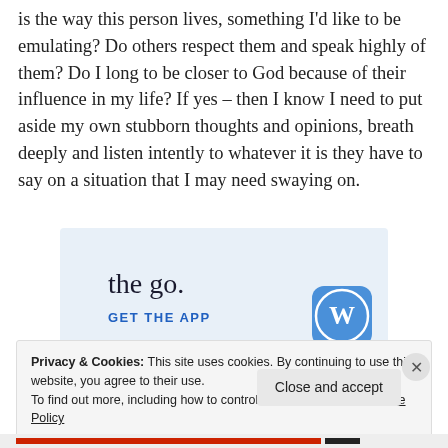is the way this person lives, something I'd like to be emulating?  Do others respect them and speak highly of them?  Do I long to be closer to God because of their influence in my life?  If yes – then I know I need to put aside my own stubborn thoughts and opinions, breath deeply and listen intently to whatever it is they have to say on a situation that I may need swaying on.
[Figure (other): WordPress app advertisement banner with light blue background showing 'the go.' tagline and 'GET THE APP' call-to-action with WordPress logo icon]
Privacy & Cookies: This site uses cookies. By continuing to use this website, you agree to their use.
To find out more, including how to control cookies, see here: Cookie Policy
Close and accept